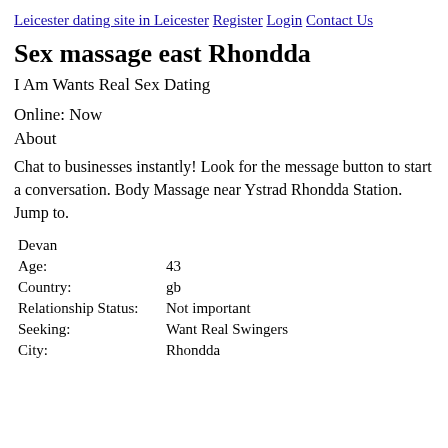Leicester dating site in Leicester Register Login Contact Us
Sex massage east Rhondda
I Am Wants Real Sex Dating
Online: Now
About
Chat to businesses instantly! Look for the message button to start a conversation. Body Massage near Ystrad Rhondda Station. Jump to.
| Devan |  |
| Age: | 43 |
| Country: | gb |
| Relationship Status: | Not important |
| Seeking: | Want Real Swingers |
| City: | Rhondda |